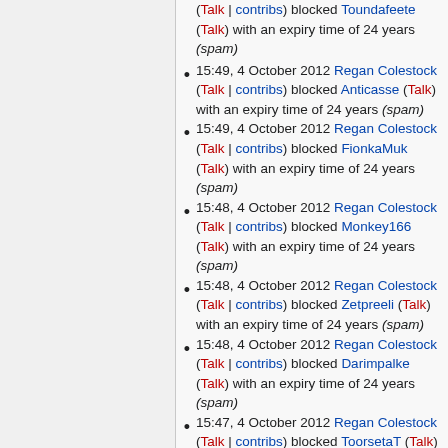(Talk | contribs) blocked Toundafeete (Talk) with an expiry time of 24 years (spam)
15:49, 4 October 2012 Regan Colestock (Talk | contribs) blocked Anticasse (Talk) with an expiry time of 24 years (spam)
15:49, 4 October 2012 Regan Colestock (Talk | contribs) blocked FionkaMuk (Talk) with an expiry time of 24 years (spam)
15:48, 4 October 2012 Regan Colestock (Talk | contribs) blocked Monkey166 (Talk) with an expiry time of 24 years (spam)
15:48, 4 October 2012 Regan Colestock (Talk | contribs) blocked Zetpreeli (Talk) with an expiry time of 24 years (spam)
15:48, 4 October 2012 Regan Colestock (Talk | contribs) blocked Darimpalke (Talk) with an expiry time of 24 years (spam)
15:47, 4 October 2012 Regan Colestock (Talk | contribs) blocked ToorsetaT (Talk) with an expiry time of 24 years (spam)